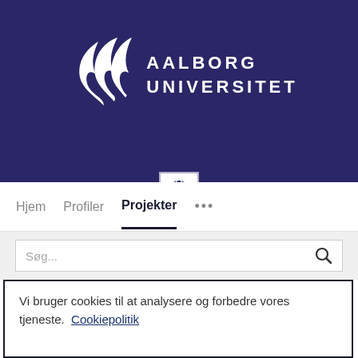[Figure (logo): Aalborg Universitet logo: white flame/wing symbol on dark navy background with AALBORG UNIVERSITET text in white capitals]
[Figure (screenshot): Globe icon button in white box at bottom of header banner]
Hjem  Profiler  Projekter  ...
Søg...
Vi bruger cookies til at analysere og forbedre vores tjeneste.  Cookiepolitik
Cookieindstillinger